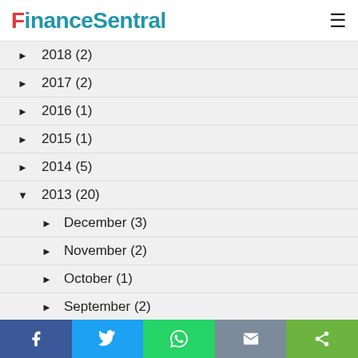FinanceSentral
► 2018 (2)
► 2017 (2)
► 2016 (1)
► 2015 (1)
► 2014 (5)
▼ 2013 (20)
► December (3)
► November (2)
► October (1)
► September (2)
▼ August (1)
Proton Suprima S: Specs, Prices and Pics
► July (4)
Social share buttons: Facebook, Twitter, WhatsApp, Email, Share